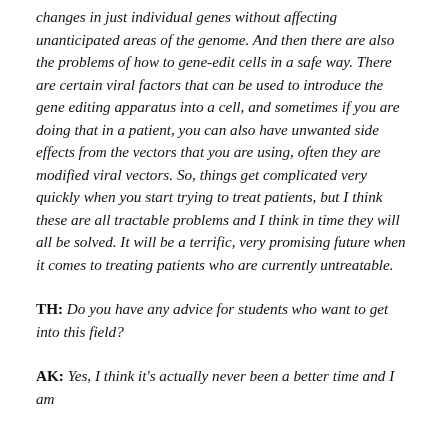changes in just individual genes without affecting unanticipated areas of the genome. And then there are also the problems of how to gene-edit cells in a safe way. There are certain viral factors that can be used to introduce the gene editing apparatus into a cell, and sometimes if you are doing that in a patient, you can also have unwanted side effects from the vectors that you are using, often they are modified viral vectors. So, things get complicated very quickly when you start trying to treat patients, but I think these are all tractable problems and I think in time they will all be solved. It will be a terrific, very promising future when it comes to treating patients who are currently untreatable.
TH: Do you have any advice for students who want to get into this field?
AK: Yes, I think it's actually never been a better time and I am